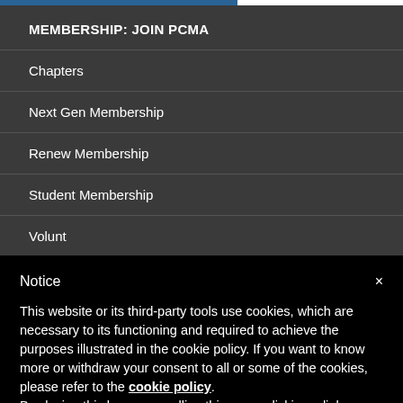MEMBERSHIP: JOIN PCMA
Chapters
Next Gen Membership
Renew Membership
Student Membership
Notice
This website or its third-party tools use cookies, which are necessary to its functioning and required to achieve the purposes illustrated in the cookie policy. If you want to know more or withdraw your consent to all or some of the cookies, please refer to the cookie policy. By closing this banner, scrolling this page, clicking a link or continuing to browse otherwise, you agree to the use of cookies.